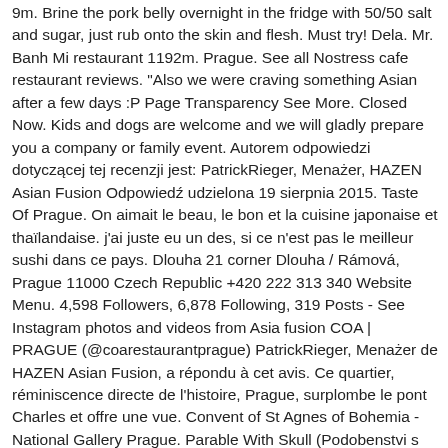9m. Brine the pork belly overnight in the fridge with 50/50 salt and sugar, just rub onto the skin and flesh. Must try! Dela. Mr. Banh Mi restaurant 1192m. Prague. See all Nostress cafe restaurant reviews. "Also we were craving something Asian after a few days :P Page Transparency See More. Closed Now. Kids and dogs are welcome and we will gladly prepare you a company or family event. Autorem odpowiedzi dotyczącej tej recenzji jest: PatrickRieger, Menażer, HAZEN Asian Fusion Odpowiedź udzielona 19 sierpnia 2015. Taste Of Prague. On aimait le beau, le bon et la cuisine japonaise et thaïlandaise. j'ai juste eu un des, si ce n'est pas le meilleur sushi dans ce pays. Dlouha 21 corner Dlouha / Rámová, Prague 11000 Czech Republic +420 222 313 340 Website Menu. 4,598 Followers, 6,878 Following, 319 Posts - See Instagram photos and videos from Asia fusion COA | PRAGUE (@coarestaurantprague) PatrickRieger, Menażer de HAZEN Asian Fusion, a répondu à cet avis. Ce quartier, réminiscence directe de l'histoire, Prague, surplombe le pont Charles et offre une vue. Convent of St Agnes of Bohemia - National Gallery Prague. Parable With Skull (Podobenstvi s lebkou). JAZEN